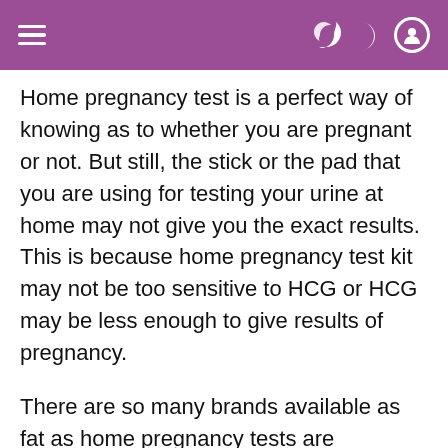≡  ) 👤
Home pregnancy test is a perfect way of knowing as to whether you are pregnant or not. But still, the stick or the pad that you are using for testing your urine at home may not give you the exact results. This is because home pregnancy test kit may not be too sensitive to HCG or HCG may be less enough to give results of pregnancy.
There are so many brands available as fat as home pregnancy tests are concerned. You should however ask your doctor to give you an exact idea which brand is the best one in this. You should read all the instructions as mentioned on the kit and follow the same as mentioned. With this there will be a primary